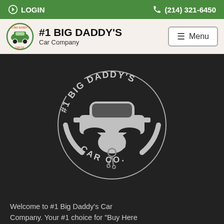LOGIN   (214) 321-6450
[Figure (logo): Navigation bar with #1 Big Daddy's Car Company logo, brand name and menu button]
[Figure (logo): Large circular logo for #1 Big Daddy's Car Co. on dark background — shows a car silhouette with a hand holding keys, text arcing around reading #1 BIG DADDY'S and CAR CO.]
Welcome to #1 Big Daddy's Car Company. Your #1 choice for "Buy Here